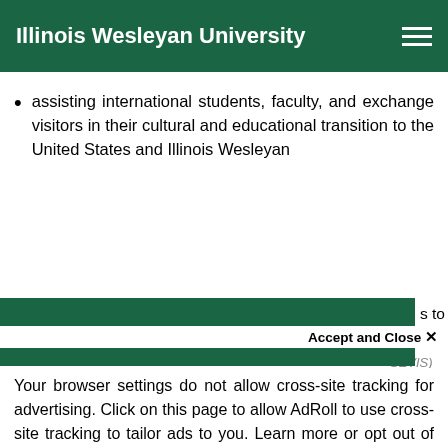Illinois Wesleyan University
assisting international students, faculty, and exchange visitors in their cultural and educational transition to the United States and Illinois Wesleyan
We use cookies to improve your experience on our website. By continuing to use our site... (SEVIS)
Accept and Close ×
Your browser settings do not allow cross-site tracking for advertising. Click on this page to allow AdRoll to use cross-site tracking to tailor ads to you. Learn more or opt out of this AdRoll tracking by clicking here. This message only appears once.
abroad programs that meet the interests and